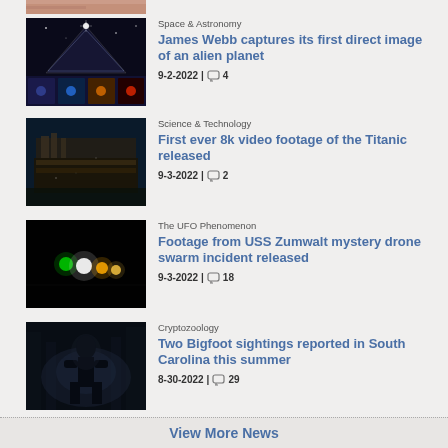[Figure (photo): Partial top view of a person's face/skin (cropped at top of page)]
Space & Astronomy
James Webb captures its first direct image of an alien planet
9-2-2022 | 4
[Figure (photo): James Webb telescope image showing alien planet in multiple wavelengths]
Science & Technology
First ever 8k video footage of the Titanic released
9-3-2022 | 2
[Figure (photo): Underwater image of the Titanic wreck]
The UFO Phenomenon
Footage from USS Zumwalt mystery drone swarm incident released
9-3-2022 | 18
[Figure (photo): Dark image showing colored lights resembling UFO/drone swarm]
Cryptozoology
Two Bigfoot sightings reported in South Carolina this summer
8-30-2022 | 29
[Figure (photo): Dark silhouette figure in foggy forest resembling Bigfoot]
View More News